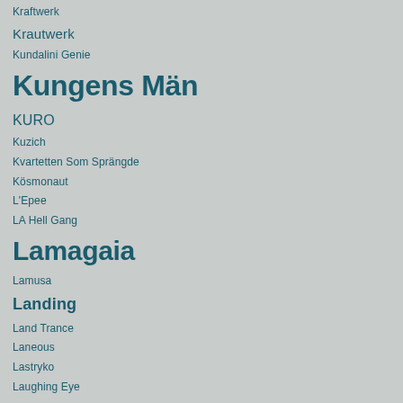Kraftwerk
Krautwerk
Kundalini Genie
Kungens Män
KURO
Kuzich
Kvartetten Som Sprängde
Kösmonaut
L'Epee
LA Hell Gang
Lamagaia
Lamusa
Landing
Land Trance
Laneous
Lastryko
Laughing Eye
Lay Llamas
Leeds United